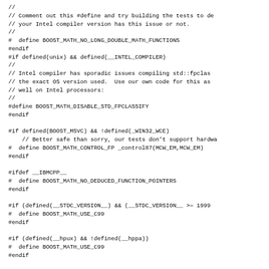//
// Comment out this #define and try building the tests to de
// your Intel compiler version has this issue or not.
//
#  define BOOST_MATH_NO_LONG_DOUBLE_MATH_FUNCTIONS
#endif
#if defined(unix) && defined(__INTEL_COMPILER)
//
// Intel compiler has sporadic issues compiling std::fpclas
// the exact OS version used.  Use our own code for this as
// well on Intel processors:
//
#define BOOST_MATH_DISABLE_STD_FPCLASSIFY
#endif

#if defined(BOOST_MSVC) && !defined(_WIN32_WCE)
    // Better safe than sorry, our tests don't support hardwa
#  define BOOST_MATH_CONTROL_FP _control87(MCW_EM,MCW_EM)
#endif

#ifdef __IBMCPP__
#  define BOOST_MATH_NO_DEDUCED_FUNCTION_POINTERS
#endif

#if (defined(__STDC_VERSION__) && (__STDC_VERSION__ >= 1999
#  define BOOST_MATH_USE_C99
#endif

#if (defined(__hpux) && !defined(__hppa))
#  define BOOST_MATH_USE_C99
#endif

#if defined(__GNUC__) && defined(_GLIBCXX_USE_C99)
#  define BOOST_MATH_USE_C99
#endif

#if defined(__CYGWIN__) || defined(__HP_aCC) || defined(BOO
   || defined(BOOST_NO_NATIVE_LONG_DOUBLE_FP_CLASSIFY) \